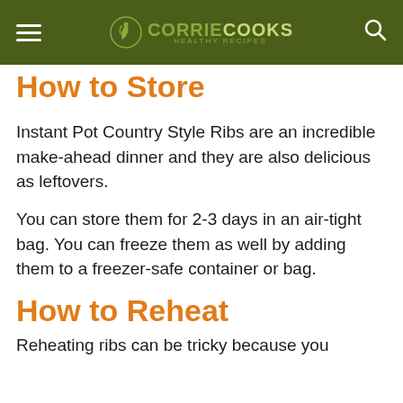CORRIE COOKS
How to Store
Instant Pot Country Style Ribs are an incredible make-ahead dinner and they are also delicious as leftovers.
You can store them for 2-3 days in an air-tight bag. You can freeze them as well by adding them to a freezer-safe container or bag.
How to Reheat
Reheating ribs can be tricky because you